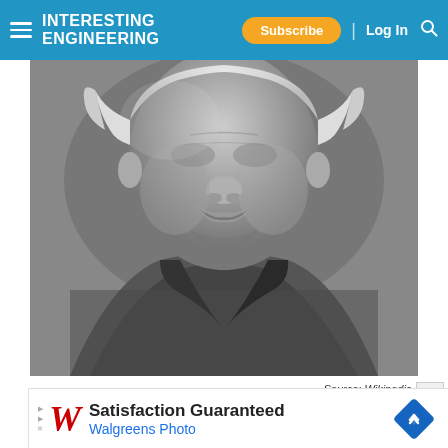INTERESTING ENGINEERING | Subscribe | Log In
[Figure (photo): Black and white close-up portrait photograph of Albert Einstein, showing his face from roughly the nose down and his torso, wearing a textured knit sweater with a wide collar. His distinctive mustache and wild white hair are visible.]
Source: Wikipedia
[Figure (other): Advertisement banner for Walgreens Photo: Satisfaction Guaranteed Walgreens Photo, with Walgreens cursive logo in red and a blue diamond navigation icon.]